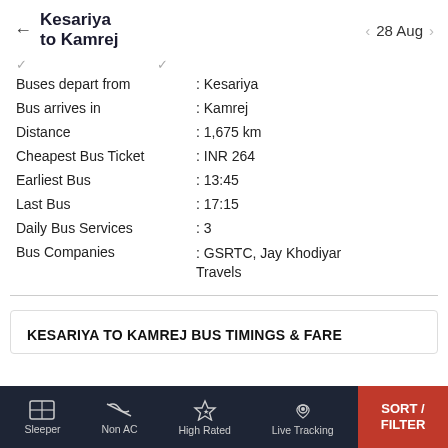Kesariya to Kamrej — 28 Aug
| Field | Value |
| --- | --- |
| Buses depart from | : Kesariya |
| Bus arrives in | : Kamrej |
| Distance | : 1,675 km |
| Cheapest Bus Ticket | : INR 264 |
| Earliest Bus | : 13:45 |
| Last Bus | : 17:15 |
| Daily Bus Services | : 3 |
| Bus Companies | : GSRTC, Jay Khodiyar Travels |
KESARIYA TO KAMREJ BUS TIMINGS & FARE
Sleeper | Non AC | High Rated | Live Tracking | SORT / FILTER